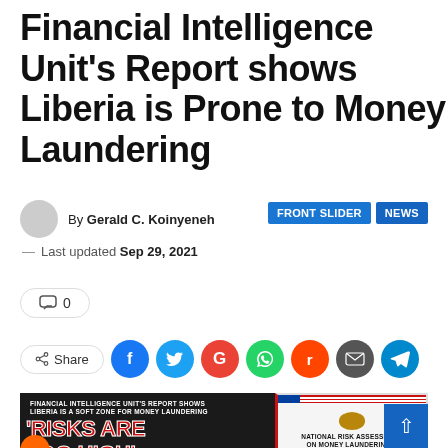Financial Intelligence Unit’s Report shows Liberia is Prone to Money Laundering
By Gerald C. Koinyeneh
FRONT SLIDER  NEWS
— Last updated Sep 29, 2021
0
Share
[Figure (photo): News article image showing text 'FINANCIAL INTELLIGENCE UNIT'S REPORT SHOWS LIBERIA IS A SOFT ZONE FOR MONEY LAUNDERING' with bold red letters 'RISKS ARE TOO HIGH' and a man in glasses; beside it a National Risk Assessment on Money Laundering & Terrorist Financing document cover with Liberia flag and seal.]